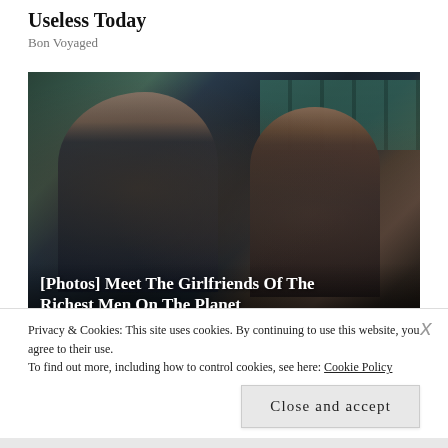Useless Today
Bon Voyaged
[Figure (photo): Two people wearing sunglasses seated at what appears to be a sporting event (Wimbledon). An older man in a dark suit with grey tie on the left, and a young woman with long brown hair on the right. Teal/green stadium seats visible in background.]
[Photos] Meet The Girlfriends Of The Richest Men On The Planet
Privacy & Cookies: This site uses cookies. By continuing to use this website, you agree to their use.
To find out more, including how to control cookies, see here: Cookie Policy
Close and accept